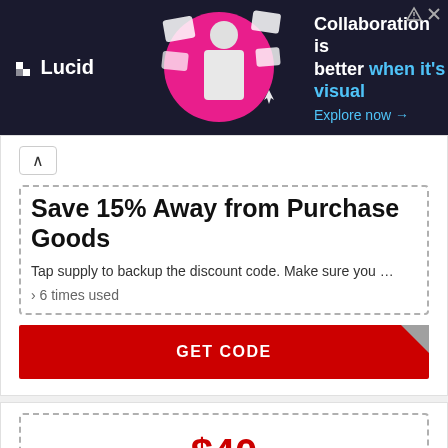[Figure (infographic): Lucid ad banner: dark background with Lucid logo on left, person with floating cards in center, text 'Collaboration is better when it's visual' and 'Explore now →' on right]
Save 15% Away from Purchase Goods
Tap supply to backup the discount code. Make sure you …
› 6 times used
GET CODE
$40 OFF
Get $40 Off Flights Between The